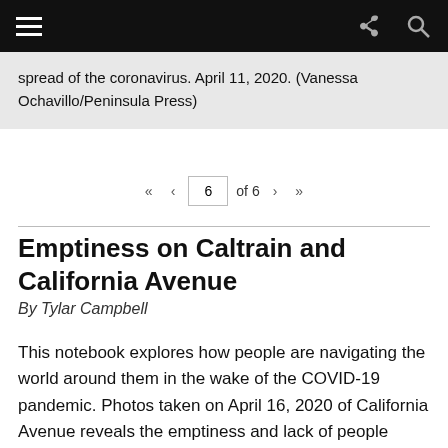≡ (navigation) | share icon | search icon
spread of the coronavirus. April 11, 2020. (Vanessa Ochavillo/Peninsula Press)
« ‹  6  of 6  › »
Emptiness on Caltrain and California Avenue
By Tylar Campbell
This notebook explores how people are navigating the world around them in the wake of the COVID-19 pandemic. Photos taken on April 16, 2020 of California Avenue reveals the emptiness and lack of people riding public transportation. Although many people are abiding by the stay-at-home order put in place by Gov.